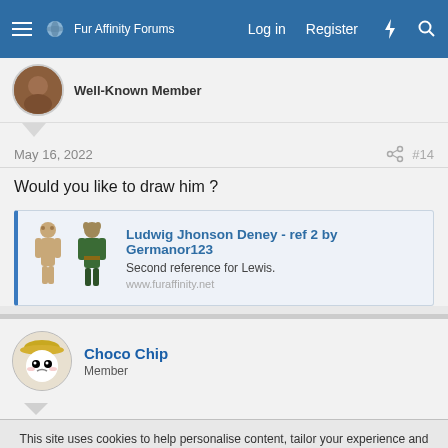Fur Affinity Forums | Log in | Register
Well-Known Member
May 16, 2022   #14
Would you like to draw him ?
[Figure (screenshot): Link card for 'Ludwig Jhonson Deney - ref 2 by Germanor123' showing two character figures, description 'Second reference for Lewis.', URL www.furaffinity.net]
Choco Chip
Member
This site uses cookies to help personalise content, tailor your experience and to keep you logged in if you register.
By continuing to use this site, you are consenting to our use of cookies.
Accept | Learn more...